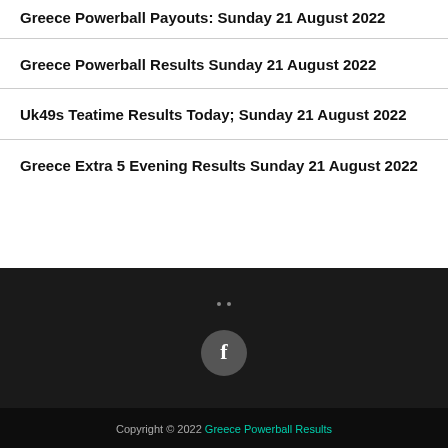Greece Powerball Payouts: Sunday 21 August 2022
Greece Powerball Results Sunday 21 August 2022
Uk49s Teatime Results Today; Sunday 21 August 2022
Greece Extra 5 Evening Results Sunday 21 August 2022
[Figure (logo): Facebook social media icon circle button]
Copyright © 2022 Greece Powerball Results